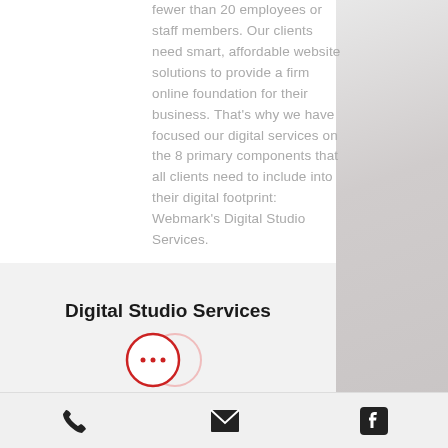fewer than 20 employees or staff members. Our clients need smart, affordable website solutions to provide a firm online foundation for their business. That's why we have focused our digital services on the 8 primary components that all clients need to include into their digital footprint: Webmark's Digital Studio Services.
Digital Studio Services
[Figure (illustration): A red-outlined chat bubble icon with three dots inside, partially overlapping another circle, above the footer bar.]
[Figure (illustration): Footer bar with three icons: phone (handset), envelope (mail), and Facebook logo square.]